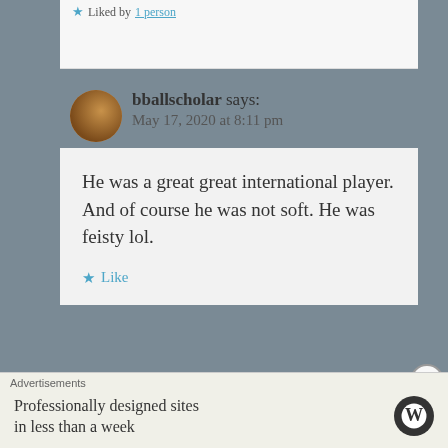★ Liked by 1 person
bballscholar says:
May 17, 2020 at 8:11 pm
He was a great great international player. And of course he was not soft. He was feisty lol.
★ Like
Advertisements
Professionally designed sites in less than a week